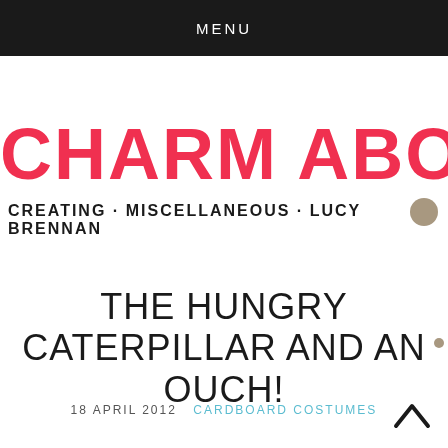MENU
CHARM ABOUT YOU
CREATING · MISCELLANEOUS · LUCY BRENNAN
THE HUNGRY CATERPILLAR AND AN OUCH!
18 APRIL 2012   CARDBOARD COSTUMES